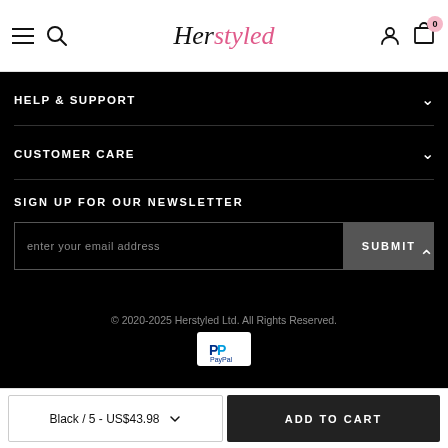Herstyled — navigation header with menu, search, account, and cart icons
HELP & SUPPORT
CUSTOMER CARE
SIGN UP FOR OUR NEWSLETTER
enter your email address
SUBMIT
© 2020-2025 Herstyled Ltd. All Rights Reserved.
[Figure (logo): PayPal logo]
Black / 5 - US$43.98
ADD TO CART